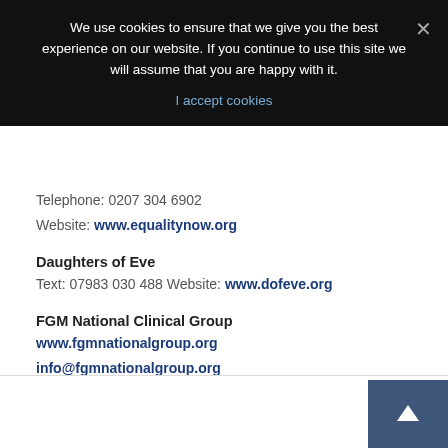We use cookies to ensure that we give you the best experience on our website. If you continue to use this site we will assume that you are happy with it.
I accept cookies
Telephone: 0207 304 6902
Website: www.equalitynow.org
Daughters of Eve
Text: 07983 030 488 Website: www.dofeve.org
FGM National Clinical Group
www.fgmnationalgroup.org
info@fgmnationalgroup.org